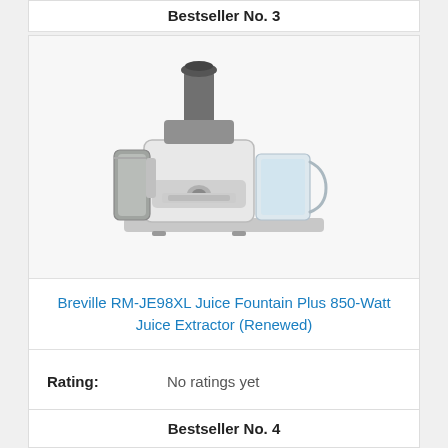Bestseller No. 3
[Figure (photo): Photo of Breville RM-JE98XL Juice Fountain Plus juicer, a silver and grey centrifugal juice extractor with a pulp container and juice jug]
Breville RM-JE98XL Juice Fountain Plus 850-Watt Juice Extractor (Renewed)
| Rating: | No ratings yet |
| --- | --- |
Buy on Amazon
Bestseller No. 4